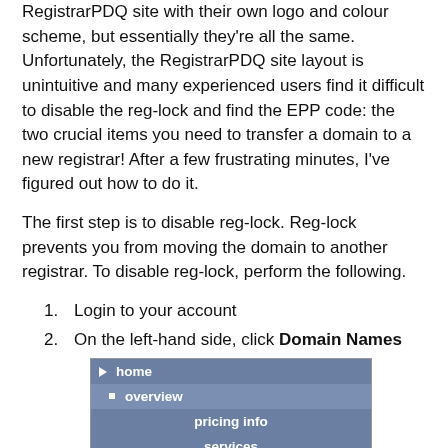RegistrarPDQ site with their own logo and colour scheme, but essentially they're all the same. Unfortunately, the RegistrarPDQ site layout is unintuitive and many experienced users find it difficult to disable the reg-lock and find the EPP code: the two crucial items you need to transfer a domain to a new registrar! After a few frustrating minutes, I've figured out how to do it.
The first step is to disable reg-lock. Reg-lock prevents you from moving the domain to another registrar. To disable reg-lock, perform the following.
Login to your account
On the left-hand side, click Domain Names
[Figure (screenshot): Navigation menu screenshot showing: home (with triangle), overview (with square bullet), pricing info, services, about us, my account, domain names (highlighted with red border), web site creator, help]